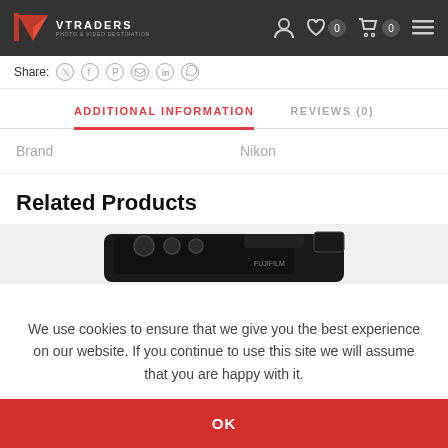VTRADERS — Photo & Video Destination
Share:
ADDITIONAL INFORMATION | REVIEWS (0)
| Brand | Nikon |
| --- | --- |
Related Products
[Figure (photo): Top portion of a black Fujifilm compact camera]
We use cookies to ensure that we give you the best experience on our website. If you continue to use this site we will assume that you are happy with it.
OK